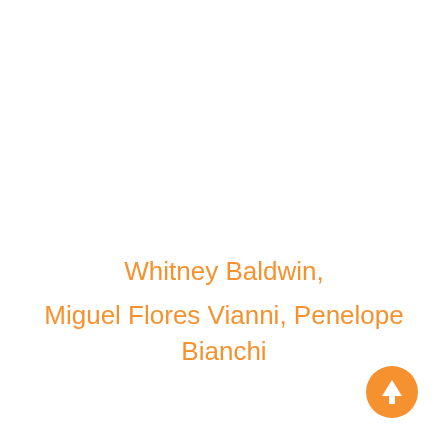Whitney Baldwin, Miguel Flores Vianni, Penelope Bianchi
[Figure (other): Orange circular scroll-to-top button with upward arrow in bottom-right corner]